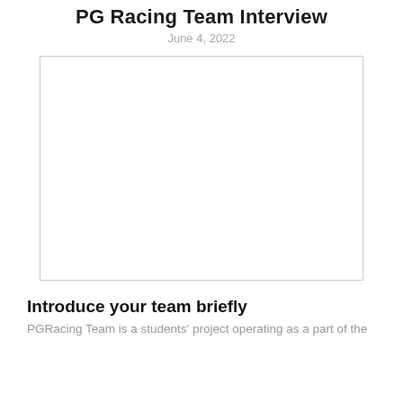PG Racing Team Interview
June 4, 2022
[Figure (photo): White blank image placeholder with thin border]
Introduce your team briefly
PGRacing Team is a students' project operating as a part of the